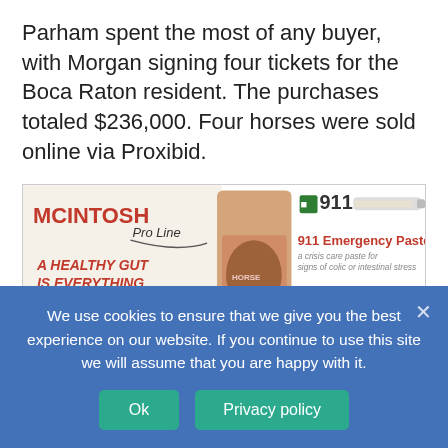Parham spent the most of any buyer, with Morgan signing four tickets for the Boca Raton resident. The purchases totaled $236,000. Four horses were sold online via Proxibid.
[Figure (illustration): McIntosh Pro Line advertisement featuring a horse supplement product bag, a syringe of 911 Emergency Paste product, and text: 'A HEALTHY GUT IS EVERYTHING', 'www.mcintoshproline.com', 'We ship to USA!', '911 Emergency Paste a crisis care paste for signs of colic or intestinal stress', 'Intensive Care GI for daily gut maintenance']
Share this:
Facebook
Twitter
LinkedIn
Print
Reddit
We use cookies to ensure that we give you the best experience on our website. If you continue to use this site we will assume that you are happy with it.